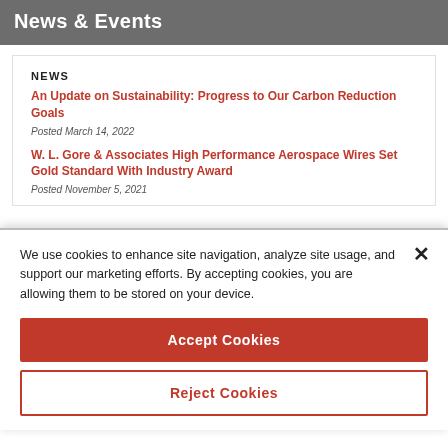News & Events
NEWS
An Update on Sustainability: Progress to Our Carbon Reduction Goals
Posted March 14, 2022
W. L. Gore & Associates High Performance Aerospace Wires Set Gold Standard With Industry Award
Posted November 5, 2021
We use cookies to enhance site navigation, analyze site usage, and support our marketing efforts. By accepting cookies, you are allowing them to be stored on your device.
Accept Cookies
Reject Cookies